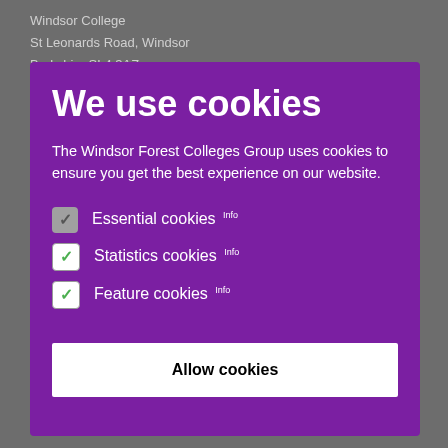Windsor College
St Leonards Road, Windsor
Berkshire SL4 3AZ
We use cookies
The Windsor Forest Colleges Group uses cookies to ensure you get the best experience on our website.
Essential cookies Info
Statistics cookies Info
Feature cookies Info
Allow cookies